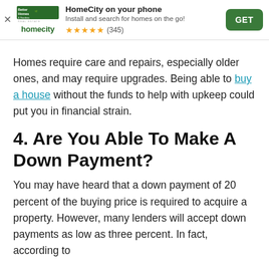[Figure (other): App install banner for HomeCity (Better Homes and Gardens Real Estate). Shows logo, title 'HomeCity on your phone', subtitle 'Install and search for homes on the go!', 5-star rating (345), and a green GET button.]
Homes require care and repairs, especially older ones, and may require upgrades. Being able to buy a house without the funds to help with upkeep could put you in financial strain.
4. Are You Able To Make A Down Payment?
You may have heard that a down payment of 20 percent of the buying price is required to acquire a property. However, many lenders will accept down payments as low as three percent. In fact, according to [link text cut off]